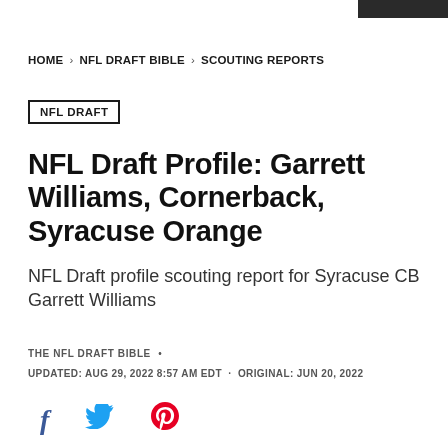HOME > NFL DRAFT BIBLE > SCOUTING REPORTS
NFL DRAFT
NFL Draft Profile: Garrett Williams, Cornerback, Syracuse Orange
NFL Draft profile scouting report for Syracuse CB Garrett Williams
THE NFL DRAFT BIBLE •
UPDATED: AUG 29, 2022 8:57 AM EDT · ORIGINAL: JUN 20, 2022
[Figure (other): Social media share icons: Facebook (f), Twitter (bird), Pinterest (P)]